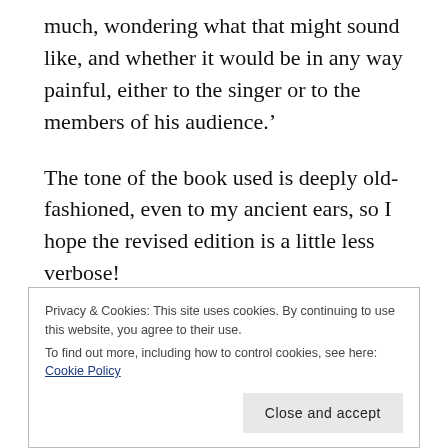much, wondering what that might sound like, and whether it would be in any way painful, either to the singer or to the members of his audience.’
The tone of the book used is deeply old-fashioned, even to my ancient ears, so I hope the revised edition is a little less verbose!
English is a complex language, made up of words from many countries, and borrows rules of grammar, punctuation and even style from the originating lands.
Privacy & Cookies: This site uses cookies. By continuing to use this website, you agree to their use.
To find out more, including how to control cookies, see here: Cookie Policy
Close and accept